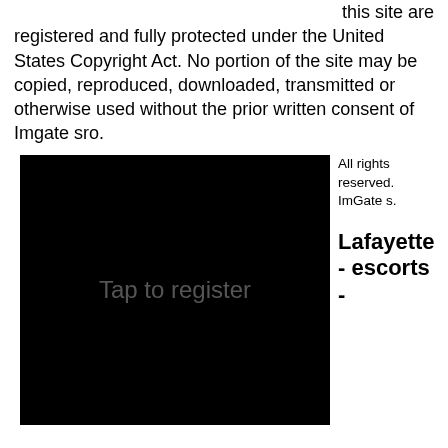this site are registered and fully protected under the United States Copyright Act. No portion of the site may be copied, reproduced, downloaded, transmitted or otherwise used without the prior written consent of Imgate sro.
[Figure (other): Black rectangle with text 'Tap to register' in grey]
All rights reserved. ImGate s.
Lafayette - escorts -
...will also have some...